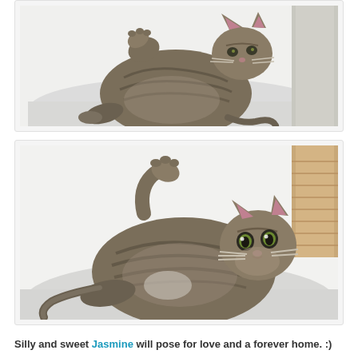[Figure (photo): Tabby kitten lying on its back on a white carpeted cat tree platform, one paw raised, looking at the camera from above]
[Figure (photo): Tabby kitten lying on its back on a white carpeted cat tree platform, paw raised up, looking at the camera with wide eyes, with a wooden post visible in background]
Silly and sweet Jasmine will pose for love and a forever home. :)